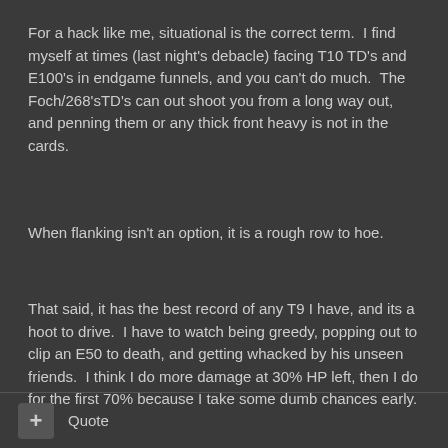For a hack like me, situational is the correct term.  I find myself at times (last night's debacle) facing T10 TD's and E100's in endgame funnels, and you can't do much.  The Foch/268'sTD's can out shoot you from a long way out, and penning them or any thick front heavy is not in the cards.
When flanking isn't an option, it is a rough row to hoe.
That said, it has the best record of any T9 I have, and its a hoot to drive.  I have to watch being greedy, popping out to clip an E50 to death, and getting whacked by his unseen friends.  I think I do more damage at 30% HP left, then I do for the first 70% because I take some dumb chances early.
+ Quote